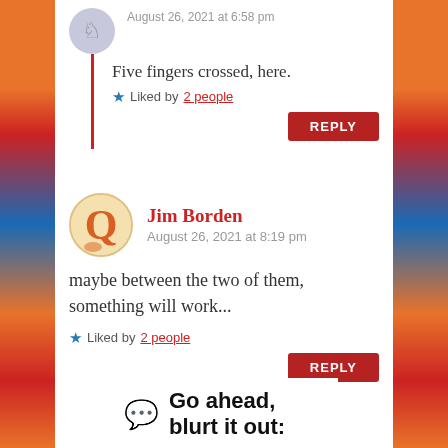August 26, 2021 at 6:58 pm
Five fingers crossed, here.
Liked by 2 people
REPLY
Jim Borden
August 26, 2021 at 8:19 pm
maybe between the two of them, something will work...
Liked by 2 people
REPLY
Go ahead, blurt it out: